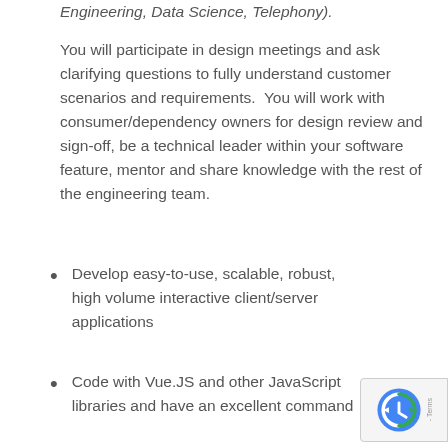Engineering, Data Science, Telephony).

You will participate in design meetings and ask clarifying questions to fully understand customer scenarios and requirements.  You will work with consumer/dependency owners for design review and sign-off, be a technical leader within your software feature, mentor and share knowledge with the rest of the engineering team.
Develop easy-to-use, scalable, robust, high volume interactive client/server applications
Code with Vue.JS and other JavaScript libraries and have an excellent command of HTML and CSS...